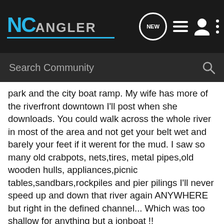NC ANGLER
Search Community
park and the city boat ramp. My wife has more of the riverfront downtown I'll post when she downloads. You could walk across the whole river in most of the area and not get your belt wet and barely your feet if it werent for the mud. I saw so many old crabpots, nets,tires, metal pipes,old wooden hulls, appliances,picnic tables,sandbars,rockpiles and pier pilings I'll never speed up and down that river again ANYWHERE but right in the defined channel... Which was too shallow for anything but a jonboat !!
Mother Nature is an awesome force!
Wind layed last night and today water is almost back to normal.
I wonder how long the fishing will be screwed up?
* Be responsible to the resource, not just obedient to the laws *